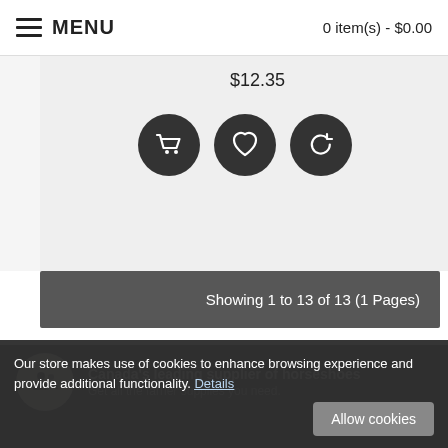MENU  |  0 item(s) - $0.00
$12.35
[Figure (screenshot): Product card with shopping cart, heart/wishlist, and refresh/compare icon buttons on dark circular backgrounds]
Showing 1 to 13 of 13 (1 Pages)
Canada's leading supplier of horseshoes
Get all the farrier supplies you need.
Located east of Orangeville, On
About 45 minutes outside of Toronto.
Extensive in-stock inventory
Our store makes use of cookies to enhance browsing experience and provide additional functionality. Details
Allow cookies